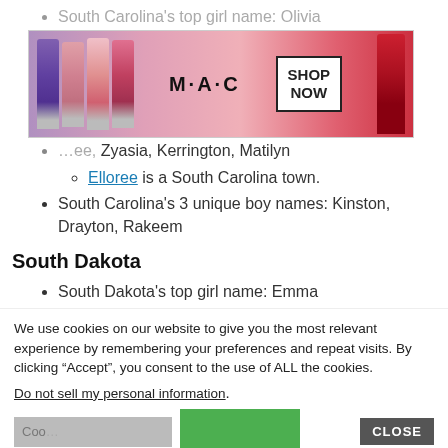South Carolina's top girl name: Olivia
[Figure (photo): MAC Cosmetics advertisement banner with colorful lipsticks and SHOP NOW button]
Elloree is a South Carolina town. Zyasia, Kerrington, Matilyn
South Carolina's 3 unique boy names: Kinston, Drayton, Rakeem
South Dakota
South Dakota's top girl name: Emma
We use cookies on our website to give you the most relevant experience by remembering your preferences and repeat visits. By clicking “Accept”, you consent to the use of ALL the cookies.
Do not sell my personal information.
[Figure (photo): ULTA beauty advertisement banner with makeup model photos and SHOP NOW button]